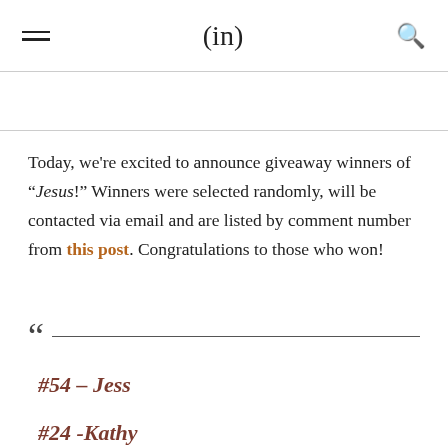(in)
Today, we're excited to announce giveaway winners of “Jesus!” Winners were selected randomly, will be contacted via email and are listed by comment number from this post. Congratulations to those who won!
#54 – Jess
#24 -Kathy